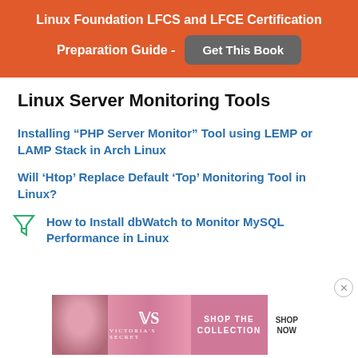Linux Foundation LFCS and LFCE Certification Preparation Guide - Get This Book
Linux Server Monitoring Tools
Installing “PHP Server Monitor” Tool using LEMP or LAMP Stack in Arch Linux
Will ‘Htop’ Replace Default ‘Top’ Monitoring Tool in Linux?
How to Install dbWatch to Monitor MySQL Performance in Linux
[Figure (photo): Victoria's Secret advertisement banner with SHOP THE COLLECTION and SHOP NOW button]